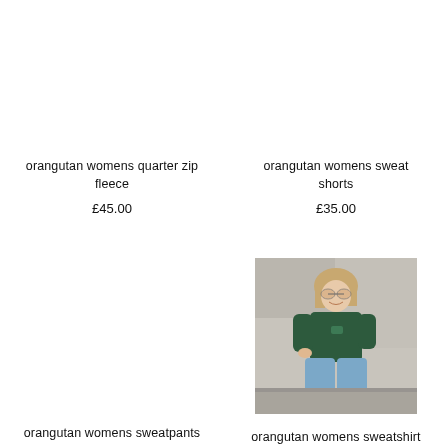orangutan womens quarter zip fleece
£45.00
orangutan womens sweat shorts
£35.00
[Figure (photo): Woman wearing a dark green sweatshirt and jeans, sitting outdoors against a concrete wall, with sunglasses]
orangutan womens sweatpants
orangutan womens sweatshirt